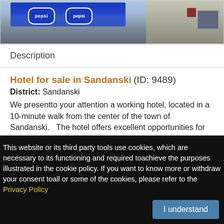[Figure (photo): Exterior photo of a hotel building with blue Pepsi-branded awnings and a multi-story building on the right]
Description
Hotel for sale in Sandanski (ID: 9489)
District: Sandanski
We presentto your attention a working hotel, located in a 10-minute walk from the center of the town of Sandanski.   The hotel offers excellent opportunities for leisure, both at summer and winter. The building has an area of 513 square meters... more
Plot Size
441 m²
This website or its third party tools use cookies, which are necessary to its functioning and required toachieve the purposes illustrated in the cookie policy. If you want to know more or withdraw your consent toall or some of the cookies, please refer to the Privacy Policy